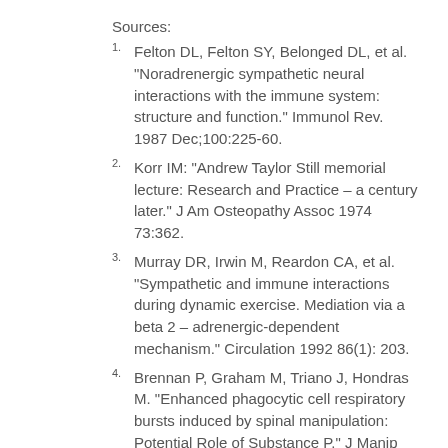Sources:
1. Felton DL, Felton SY, Belonged DL, et al. “Noradrenergic sympathetic neural interactions with the immune system: structure and function.” Immunol Rev. 1987 Dec;100:225-60.
2. Korr IM: “Andrew Taylor Still memorial lecture: Research and Practice – a century later.” J Am Osteopathy Assoc 1974 73:362.
3. Murray DR, Irwin M, Reardon CA, et al. “Sympathetic and immune interactions during dynamic exercise. Mediation via a beta 2 – adrenergic-dependent mechanism.” Circulation 1992 86(1): 203.
4. Brennan P, Graham M, Triano J, Hondras M. “Enhanced phagocytic cell respiratory bursts induced by spinal manipulation: Potential Role of Substance P.” J Manip Physiolog Ther 1991; (14)7:399-409.